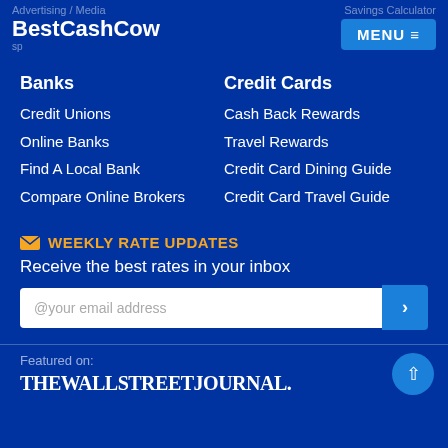Advertising / Media | Savings Calculator
BestCashCow
Banks
Credit Unions
Online Banks
Find A Local Bank
Compare Online Brokers
Credit Cards
Cash Back Rewards
Travel Rewards
Credit Card Dining Guide
Credit Card Travel Guide
WEEKLY RATE UPDATES
Receive the best rates in your inbox
@your email address
Featured on:
[Figure (logo): THE WALL STREET JOURNAL logo in white serif text]